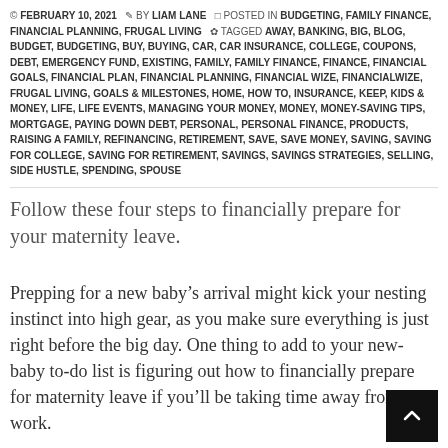© FEBRUARY 10, 2021 ✎ BY LIAM LANE □ POSTED IN BUDGETING, FAMILY FINANCE, FINANCIAL PLANNING, FRUGAL LIVING ✿ TAGGED AWAY, BANKING, BIG, BLOG, BUDGET, BUDGETING, BUY, BUYING, CAR, CAR INSURANCE, COLLEGE, COUPONS, DEBT, EMERGENCY FUND, EXISTING, FAMILY, FAMILY FINANCE, FINANCE, FINANCIAL GOALS, FINANCIAL PLAN, FINANCIAL PLANNING, FINANCIAL WIZE, FINANCIALWIZE, FRUGAL LIVING, GOALS & MILESTONES, HOME, HOW TO, INSURANCE, KEEP, KIDS & MONEY, LIFE, LIFE EVENTS, MANAGING YOUR MONEY, MONEY, MONEY-SAVING TIPS, MORTGAGE, PAYING DOWN DEBT, PERSONAL, PERSONAL FINANCE, PRODUCTS, RAISING A FAMILY, REFINANCING, RETIREMENT, SAVE, SAVE MONEY, SAVING, SAVING FOR COLLEGE, SAVING FOR RETIREMENT, SAVINGS, SAVINGS STRATEGIES, SELLING, SIDE HUSTLE, SPENDING, SPOUSE
Follow these four steps to financially prepare for your maternity leave.
Prepping for a new baby's arrival might kick your nesting instinct into high gear, as you make sure everything is just right before the big day. One thing to add to your new-baby to-do list is figuring out how to financially prepare for maternity leave if you'll be taking time away from work.